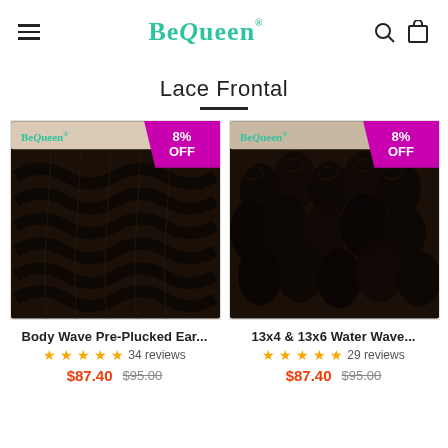BeQueen
Lace Frontal
[Figure (photo): Body wave pre-plucked lace frontal hair piece with 8% OFF badge and BeQueen logo watermark]
[Figure (photo): 13x4 & 13x6 water wave lace frontal hair piece with 8% OFF badge and BeQueen logo watermark]
Body Wave Pre-Plucked Ear...
★★★★★ 34 reviews
$87.40  $95.00
13x4 & 13x6 Water Wave...
★★★★★ 29 reviews
$87.40  $95.00